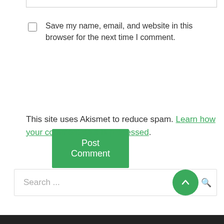Save my name, email, and website in this browser for the next time I comment.
[Figure (other): Green Post Comment button]
This site uses Akismet to reduce spam. Learn how your comment data is processed.
[Figure (other): Search bar with green circle up-arrow button and search icon]